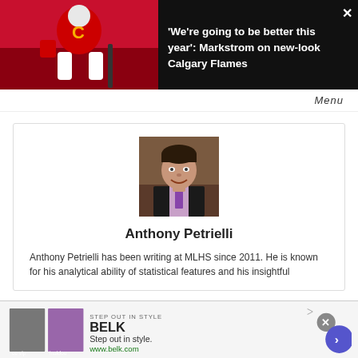[Figure (photo): Screenshot of a sports news website. Top banner shows a Calgary Flames goalie in red uniform on the left, with article headline on black background: ''We're going to be better this year': Markstrom on new-look Calgary Flames'. A close (X) button is visible top-right.]
Menu
[Figure (photo): Author profile photo: young man with dark hair, wearing a black suit jacket and patterned tie, smiling, photographed indoors.]
Anthony Petrielli
Anthony Petrielli has been writing at MLHS since 2011. He is known for his analytical ability of statistical features and his insightful
[Figure (screenshot): Advertisement banner for BELK: 'STEP OUT IN STYLE' text above BELK logo, two clothing images, text 'Step out in style.' and 'www.belk.com'. A purple circle arrow button on right and gray close X button.]